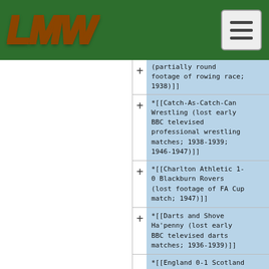LMW
*(partially round footage of rowing race; 1938)]]
*[[Catch-As-Catch-Can Wrestling (lost early BBC televised professional wrestling matches; 1938-1939; 1946-1947)]]
*[[Charlton Athletic 1-0 Blackburn Rovers (lost footage of FA Cup match; 1947)]]
*[[Darts and Shove Ha'penny (lost early BBC televised darts matches; 1936-1939)]]
*[[England 0-1 Scotland